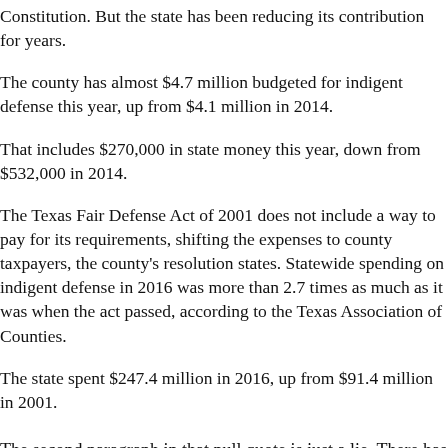Constitution. But the state has been reducing its contribution for years.
The county has almost $4.7 million budgeted for indigent defense this year, up from $4.1 million in 2014.
That includes $270,000 in state money this year, down from $532,000 in 2014.
The Texas Fair Defense Act of 2001 does not include a way to pay for its requirements, shifting the expenses to county taxpayers, the county's resolution states. Statewide spending on indigent defense in 2016 was more than 2.7 times as much as it was when the act passed, according to the Texas Association of Counties.
The state spent $247.4 million in 2016, up from $91.4 million in 2001.
The second paragraph in that pull quote is just a lie. There has never been a time when the state